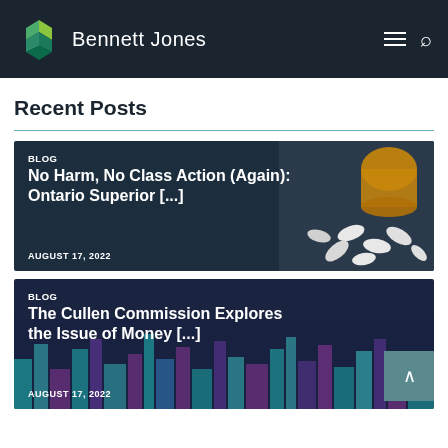Bennett Jones
Recent Posts
[Figure (screenshot): Blog card: No Harm, No Class Action (Again): Ontario Superior [...] — AUGUST 17, 2022, dark background with pill bottle image]
[Figure (screenshot): Blog card: The Cullen Commission Explores the Issue of Money [...] — AUGUST 17, 2022, dark background with purple city skyline image]